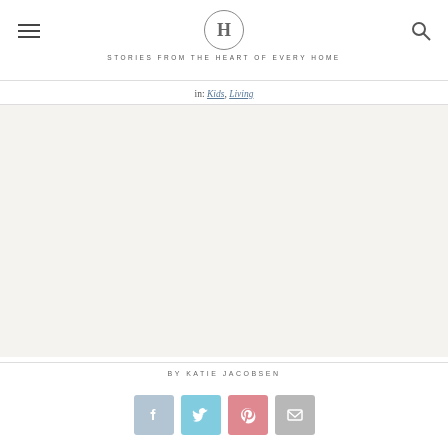H · STORIES FROM THE HEART OF EVERY HOME
in: Kids, Living
[Figure (photo): Large editorial photograph occupying the main content area of the page (mostly white/blank in this cropped view)]
BY KATIE JACOBSEN
[Figure (infographic): Row of four social share buttons: Facebook (blue-grey), Twitter (light blue), Pinterest (pink-red), Email (grey)]